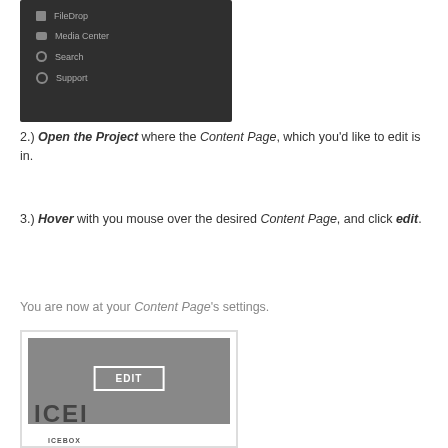[Figure (screenshot): Dark-themed navigation menu screenshot showing FileDrop, Media Center, Search, and Support menu items with icons]
2.) Open the Project where the Content Page, which you'd like to edit is in.
3.) Hover with you mouse over the desired Content Page, and click edit.
You are now at your Content Page's settings.
[Figure (screenshot): Screenshot of a content page card showing a gray thumbnail with an EDIT button overlay and partial text 'ICEBOX' at the bottom]